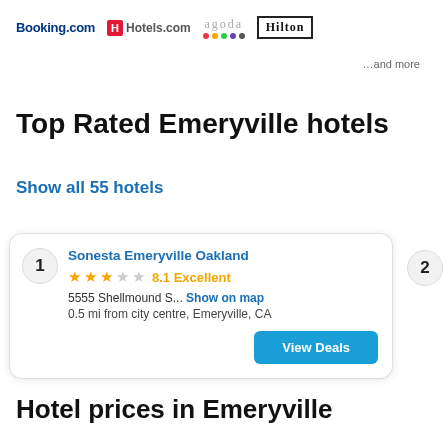[Figure (logo): Booking.com, Hotels.com, Agoda, and Hilton logos in a row]
…and more
Top Rated Emeryville hotels
Show all 55 hotels
1  Sonesta Emeryville Oakland  ★★★☆☆  8.1 Excellent  5555 Shellmound S...  Show on map  0.5 mi from city centre, Emeryville, CA  View Deals
2
Hotel prices in Emeryville